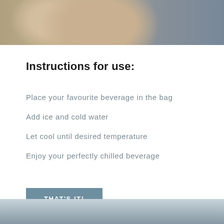[Figure (photo): Top portion of a product photo showing wooden paddle or board surfaces with text/logo markings, and a dark woven/textile material visible on the right side.]
Instructions for use:
Place your favourite beverage in the bag
Add ice and cold water
Let cool until desired temperature
Enjoy your perfectly chilled beverage
THAT'S IT!
[Figure (photo): Bottom portion of a photo showing a coastal or waterfront scene with a light grey-blue sky.]